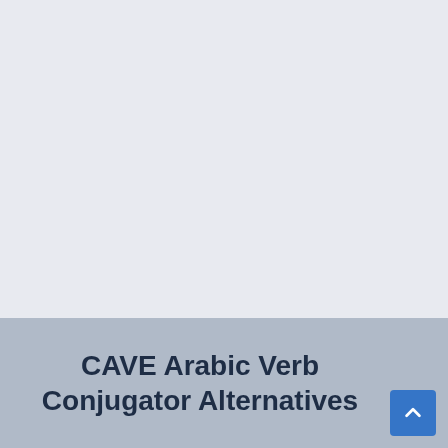[Figure (screenshot): Light gray-blue blank upper area of a webpage]
CAVE Arabic Verb Conjugator Alternatives